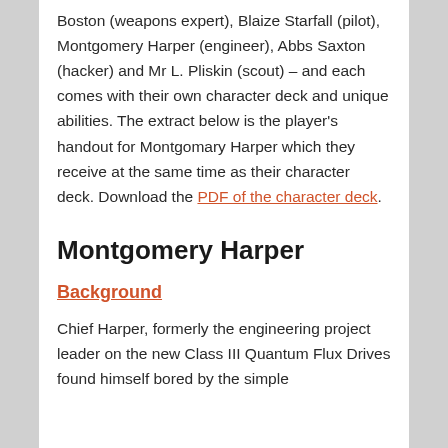Boston (weapons expert), Blaize Starfall (pilot), Montgomery Harper (engineer), Abbs Saxton (hacker) and Mr L. Pliskin (scout) – and each comes with their own character deck and unique abilities. The extract below is the player's handout for Montgomary Harper which they receive at the same time as their character deck. Download the PDF of the character deck.
Montgomery Harper
Background
Chief Harper, formerly the engineering project leader on the new Class III Quantum Flux Drives found himself bored by the simple